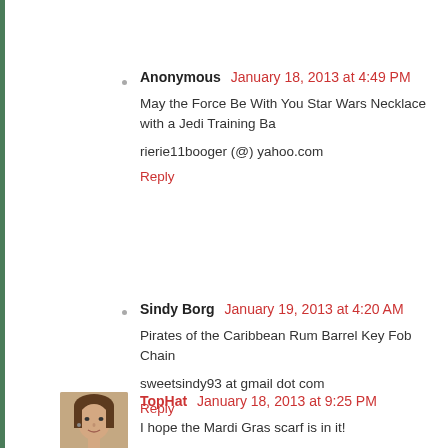Anonymous January 18, 2013 at 4:49 PM
May the Force Be With You Star Wars Necklace with a Jedi Training Ba
rierie11booger (@) yahoo.com
Reply
[Figure (photo): Small avatar photo of TopHat commenter showing a woman's face]
TopHat January 18, 2013 at 9:25 PM
I hope the Mardi Gras scarf is in it!
hrfarley at gmail dot com
Reply
Sindy Borg January 19, 2013 at 4:20 AM
Pirates of the Caribbean Rum Barrel Key Fob Chain
sweetsindy93 at gmail dot com
Reply